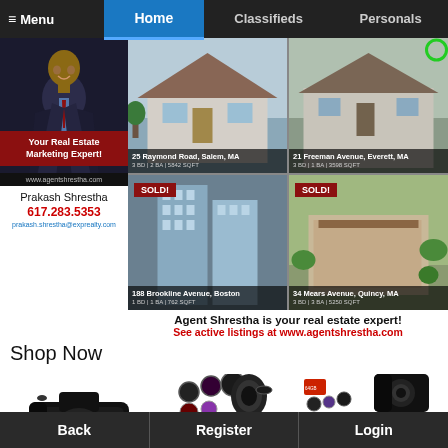≡ Menu  Home  Classifieds  Personals
[Figure (photo): Real estate agent Prakash Shrestha in suit with red banner 'Your Real Estate Marketing Expert!' and website www.agentshrestha.com]
Prakash Shrestha
617.283.5353
prakash.shrestha@exprealty.com
[Figure (photo): 25 Raymond Road, Salem, MA - 3 BD | 2 BA | 5842 SQFT - house listing photo]
[Figure (photo): 21 Freeman Avenue, Everett, MA - 3 BD | 1 BA | 3598 SQFT - house listing photo]
[Figure (photo): 188 Brookline Avenue, Boston - 1 BD | 1 BA | 762 SQFT - SOLD! building listing photo]
[Figure (photo): 34 Mears Avenue, Quincy, MA - 3 BD | 3 BA | 5250 SQFT - SOLD! house listing photo]
Agent Shrestha is your real estate expert!
See active listings at www.agentshrestha.com
Shop Now
[Figure (photo): Canon DSLR camera product photo]
[Figure (photo): Canon DSLR camera with accessories kit product photo]
[Figure (photo): Canon DSLR camera complete accessories bundle with bag, tripod, filters product photo]
Back  Register  Login